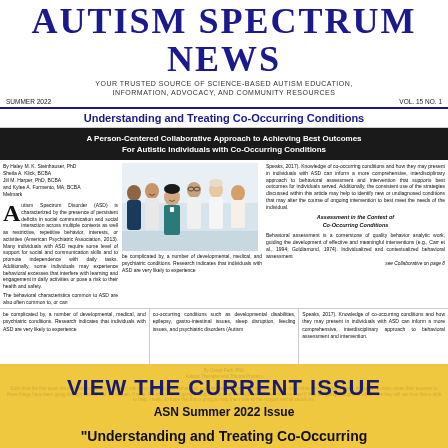AUTISM SPECTRUM NEWS
YOUR TRUSTED SOURCE OF SCIENCE-BASED AUTISM EDUCATION, INFORMATION, ADVOCACY, AND COMMUNITY RESOURCES
SUMMER 2022    VOL. 15 NO. 1
Understanding and Treating Co-Occurring Conditions
A Person-Centered Collaborative Approach to Achieving Best Outcomes For Autistic Individuals with Co-Occurring Conditions
By Haley M. K. Steinhauser, PhD
Sheila A. Klick, BCBA
Jill M. Harper, PhD, BCBA
and Kylee A. Formento, MA, BCBA
Melmark
Autism Spectrum Disorder (ASD) is characterized by the presence of persistent deficits in social communication and social interaction across multiple contexts as well as restrictive, repetitive behavior, interests, or activities (American Psychiatric Association, 2013). Many individuals with ASD require some level of support for social and communication skills and to promote independence with daily tasks. Additionally, some individuals may experience behavioral excesses that interfere with learning and engagement in daily activities or pose a risk to their health and safety.
The behavioral characteristics common to ASD are also often common to, or can...
[Figure (photo): Group photo of six medical/healthcare professionals in scrubs and white coats, smiling]
be complicated by, a number of developmental, medical, and psychiatric conditions. Research indicates that individuals with ASD are very likely to experience...
co-occurring conditions such as developmental disabilities, epilepsy, gastro-intestinal issues, sleep disruption, feeding issues, and psychiatric disorders (Autism...
Speaks, 2017). Knowledge of co-occurring conditions and how they may present in individuals with ASD can inform a more comprehensive, interdisciplinary approach to behavioral assessment and intervention that supports best outcomes for individuals served. Additionally, the consistent use of the strategies discussed within this article may help to identify new or undiagnosed conditions that may alter the course of ongoing intervention to best meet the needs of the individual.

Assessment in the Context of Co-Occurring Conditions

Behavioral assessment is a cornerstone of quality behavior analytic work, guiding the development of effective and meaningful interventions (e.g., Carr et al., 1994; Goldiamond, 1974). Individualized and contextualized behavioral assessment

See Collaborative on page 8
VIEW THE CURRENT ISSUE
ASN Summer 2022 Issue
"Understanding and Treating Co-Occurring Conditions"